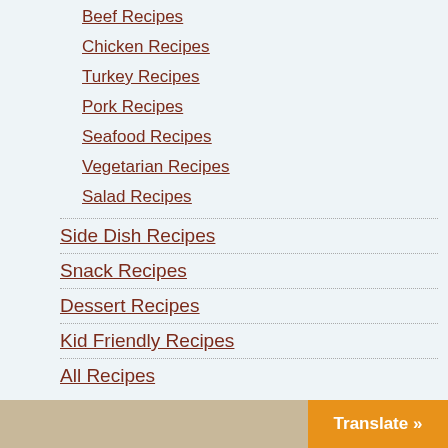Beef Recipes
Chicken Recipes
Turkey Recipes
Pork Recipes
Seafood Recipes
Vegetarian Recipes
Salad Recipes
Side Dish Recipes
Snack Recipes
Dessert Recipes
Kid Friendly Recipes
All Recipes
Translate »